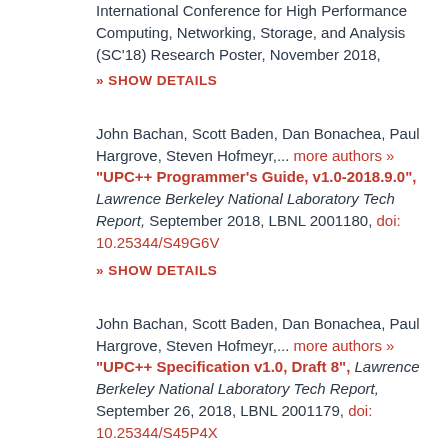International Conference for High Performance Computing, Networking, Storage, and Analysis (SC'18) Research Poster, November 2018,
» SHOW DETAILS
John Bachan, Scott Baden, Dan Bonachea, Paul Hargrove, Steven Hofmeyr,... more authors » "UPC++ Programmer's Guide, v1.0-2018.9.0", Lawrence Berkeley National Laboratory Tech Report, September 2018, LBNL 2001180, doi: 10.25344/S49G6V
» SHOW DETAILS
John Bachan, Scott Baden, Dan Bonachea, Paul Hargrove, Steven Hofmeyr,... more authors » "UPC++ Specification v1.0, Draft 8", Lawrence Berkeley National Laboratory Tech Report, September 26, 2018, LBNL 2001179, doi: 10.25344/S45P4X
» SHOW DETAILS
John Bachan, Scott Baden, Dan Bonachea, Paul H. Hargrove, Steven Hofmeyr,... more authors » "UPC++ Specification v1.0, Draft 6", Lawrence Berkeley National Laboratory Tech Report,